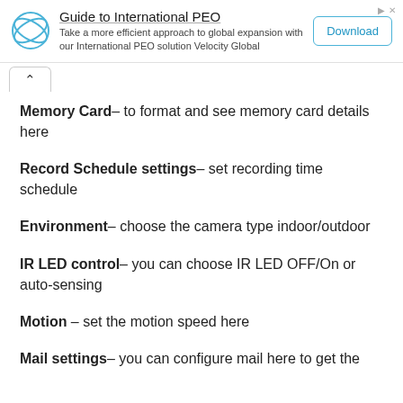[Figure (other): Advertisement banner: Guide to International PEO with logo, description text, and Download button]
Memory Card– to format and see memory card details here
Record Schedule settings– set recording time schedule
Environment– choose the camera type indoor/outdoor
IR LED control– you can choose IR LED OFF/On or auto-sensing
Motion – set the motion speed here
Mail settings– you can configure mail here to get the